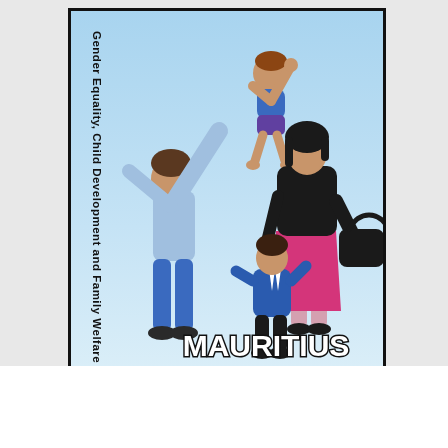[Figure (illustration): Cover page illustration for Gender Equality, Child Development and Family Welfare - Mauritius. Shows a family of four on a light blue gradient background: a father in blue jeans and light blue shirt lifting a toddler boy overhead, a mother in black top and pink skirt holding a handbag, and a young child in blue school uniform standing between them. Rotated vertical text on left side reads 'Gender Equality, Child Development and Family Welfare'. Bold white text at bottom reads 'MAURITIUS'.]